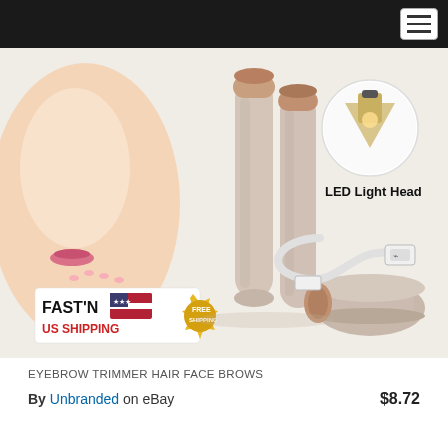[Figure (photo): Product photo of eyebrow trimmer hair remover pen with LED light head, shown with USB charging cable, a close-up of a woman's face, and labels 'FAST'N US SHIPPING' and 'FREE SHIPPING']
EYEBROW TRIMMER HAIR FACE BROWS
By Unbranded on eBay  $8.72